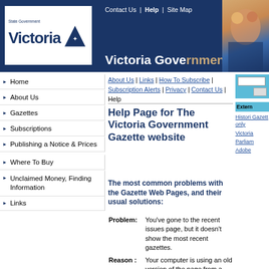Contact Us | Help | Site Map
Victoria Government Gazette
Home
About Us
Gazettes
Subscriptions
Publishing a Notice & Prices
Where To Buy
Unclaimed Money, Finding Information
Links
About Us | Links | How To Subscribe | Subscription Alerts | Privacy | Contact Us | Help
Help Page for The Victoria Government Gazette website
The most common problems with the Gazette Web Pages, and their usual solutions:
Problem: You've gone to the recent issues page, but it doesn't show the most recent gazettes.
Reason: Your computer is using an old version of the page from a cache on either your computer, or on your ISP's computer.
Solution: If you are using Microsoft Edge, you need to go back to the recent issues page and "refresh"